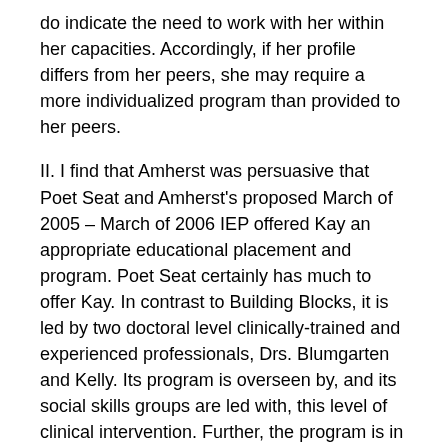do indicate the need to work with her within her capacities. Accordingly, if her profile differs from her peers, she may require a more individualized program than provided to her peers.
II. I find that Amherst was persuasive that Poet Seat and Amherst's proposed March of 2005 – March of 2006 IEP offered Kay an appropriate educational placement and program. Poet Seat certainly has much to offer Kay. In contrast to Building Blocks, it is led by two doctoral level clinically-trained and experienced professionals, Drs. Blumgarten and Kelly. Its program is overseen by, and its social skills groups are led with, this level of clinical intervention. Further, the program is in a small modular building separate from the mainstreamed public school, and therefore offers a quieter setting. The students may use the mainstreamed schools' gym and cafeteria, however the regular education students are not there at